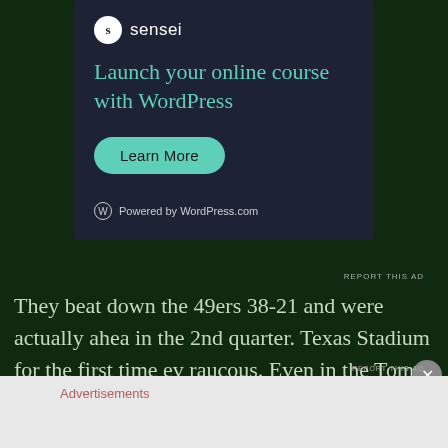[Figure (screenshot): Advertisement banner for Sensei WordPress course platform. Dark navy background with Sensei logo, teal headline 'Launch your online course with WordPress', a teal 'Learn More' button, and 'Powered by WordPress.com' footer.]
REPORT THIS AD
They beat down the 49ers 38-21 and were actually ahea in the 2nd quarter. Texas Stadium for the first time ev raucous. Even in the Tom Landry days crowds in Dalla responded like they were at a play or something. They cheered when it was time to but this felt different.
Advertisements
REPORT THIS AD